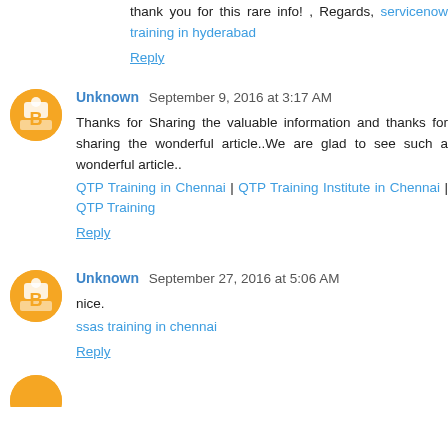thank you for this rare info! , Regards, servicenow training in hyderabad
Reply
Unknown September 9, 2016 at 3:17 AM
Thanks for Sharing the valuable information and thanks for sharing the wonderful article..We are glad to see such a wonderful article..
QTP Training in Chennai | QTP Training Institute in Chennai | QTP Training
Reply
Unknown September 27, 2016 at 5:06 AM
nice.
ssas training in chennai
Reply